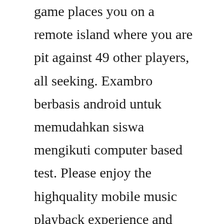game places you on a remote island where you are pit against 49 other players, all seeking. Exambro berbasis android untuk memudahkan siswa mengikuti computer based test. Please enjoy the highquality mobile music playback experience and enjoy your musical. Get the official youtube app for android phones and tablets. Update your old rooted smartphone or tablet to android 8 oreo. Back up data data android kalian untuk mengaktifkan xblast tool nya. We recommend using a download manager to download those files. Sekarang telah hadir aplikasi bernama